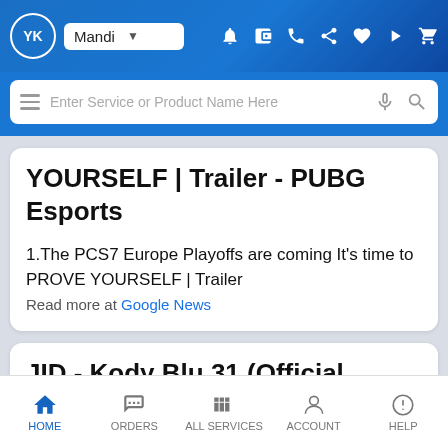YK | Mandi (dropdown) | notification, wallet, phone, share, heart, play, cart icons
Enter Service or Product Name Here
YOURSELF | Trailer - PUBG Esports
1.The PCS7 Europe Playoffs are coming It's time to PROVE YOURSELF | Trailer
Read more at Google News
JID - Kody Blu 31 (Official Music Video) - JID
HOME | ORDERS | ALL SERVICES | ACCOUNT | HELP